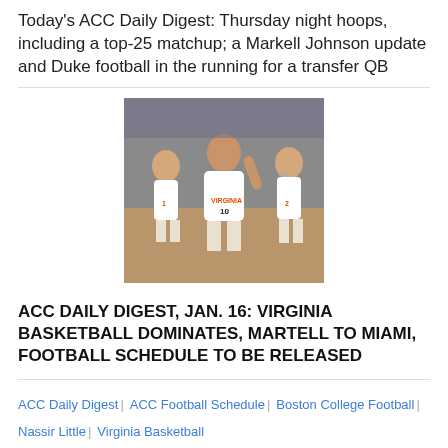Today's ACC Daily Digest: Thursday night hoops, including a top-25 matchup; a Markell Johnson update and Duke football in the running for a transfer QB
[Figure (photo): Basketball players in Virginia uniforms on a court, one player raising his hand]
ACC DAILY DIGEST, JAN. 16: VIRGINIA BASKETBALL DOMINATES, MARTELL TO MIAMI, FOOTBALL SCHEDULE TO BE RELEASED
ACC Daily Digest | ACC Football Schedule | Boston College Football | Nassir Little | Virginia Basketball
Tate Martell and Jeff Thomas are with Miami; UNC down Notre Dame, Virginia Basketball dominate and ACC